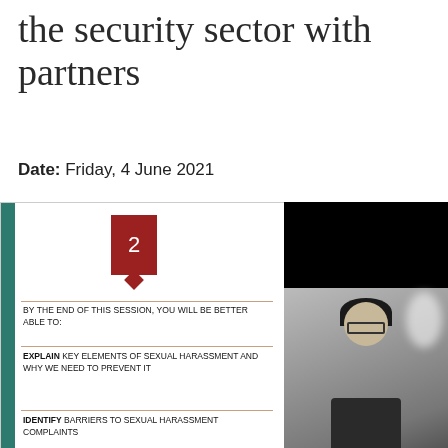the security sector with partners
Date: Friday, 4 June 2021
[Figure (screenshot): A screenshot of a virtual training session showing a presentation slide on the left with a red number 2 box, text reading 'BY THE END OF THIS SESSION, YOU WILL BE BETTER ABLE TO:', followed by 'EXPLAIN KEY ELEMENTS OF SEXUAL HARASSMENT AND WHY WE NEED TO PREVENT IT' and 'IDENTIFY BARRIERS TO SEXUAL HARASSMENT COMPLAINTS', with a video feed of a participant on the right side showing a person with dark hair and glasses against a lit background.]